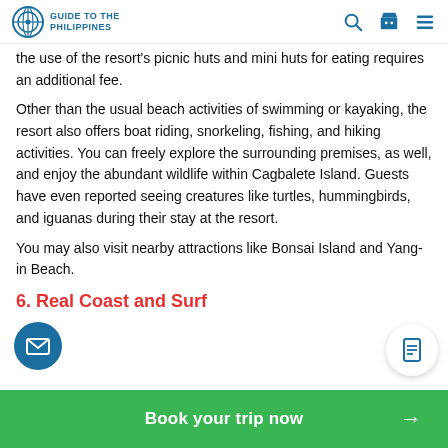Guide to the Philippines
the use of the resort's picnic huts and mini huts for eating requires an additional fee.
Other than the usual beach activities of swimming or kayaking, the resort also offers boat riding, snorkeling, fishing, and hiking activities. You can freely explore the surrounding premises, as well, and enjoy the abundant wildlife within Cagbalete Island. Guests have even reported seeing creatures like turtles, hummingbirds, and iguanas during their stay at the resort.
You may also visit nearby attractions like Bonsai Island and Yang-in Beach.
6. Real Coast and Surf